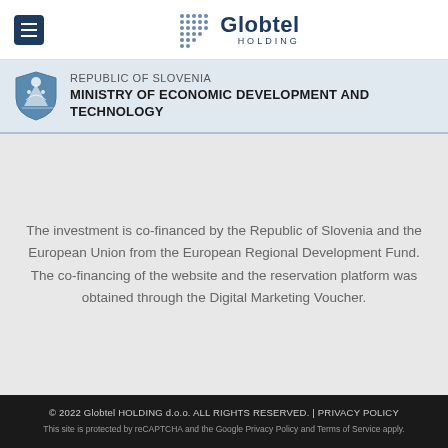[Figure (logo): Globtel Holding logo with dot grid pattern and hamburger menu button]
[Figure (logo): Republic of Slovenia coat of arms shield with Ministry of Economic Development and Technology text]
The investment is co-financed by the Republic of Slovenia and the European Union from the European Regional Development Fund. The co-financing of the website and the reservation platform was obtained through the Digital Marketing Voucher.
© 2022 Globtel HOLDING d.o.o. ALL RIGHTS RESERVED. | PRIVACY POLICY
This site is protected by reCAPTCHA and the Google Privacy Policy and Terms of Service apply.